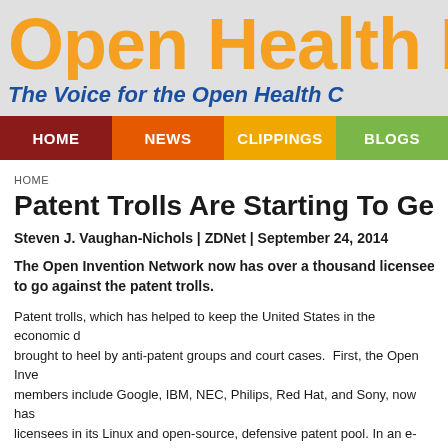Open Health N
The Voice for the Open Health C
[Figure (other): Navigation bar with HOME (dark red), NEWS (orange), CLIPPINGS (yellow-orange), BLOGS (green) menu items]
HOME
Patent Trolls Are Starting To Get Tram
Steven J. Vaughan-Nichols | ZDNet | September 24, 2014
The Open Invention Network now has over a thousand licensees and to go against the patent trolls.
Patent trolls, which has helped to keep the United States in the economic d brought to heel by anti-patent groups and court cases.  First, the Open Inve members include Google, IBM, NEC, Philips, Red Hat, and Sony, now has licensees in its Linux and open-source, defensive patent pool. In an e-mail said, "The OIN license is becoming part of a broader set of community norm integrated into the culture of open source/Linux-centric companies. It is for which their IP [intellectual property] strategy is built and a critical enabler of freedom to operate."